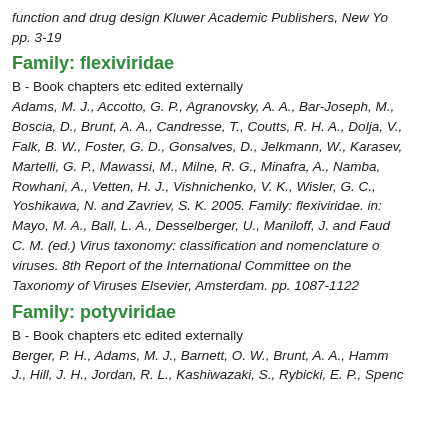function and drug design Kluwer Academic Publishers, New York. pp. 3-19
Family: flexiviridae
B - Book chapters etc edited externally
Adams, M. J., Accotto, G. P., Agranovsky, A. A., Bar-Joseph, M., Boscia, D., Brunt, A. A., Candresse, T., Coutts, R. H. A., Dolja, V., Falk, B. W., Foster, G. D., Gonsalves, D., Jelkmann, W., Karasev, Martelli, G. P., Mawassi, M., Milne, R. G., Minafra, A., Namba, Rowhani, A., Vetten, H. J., Vishnichenko, V. K., Wisler, G. C., Yoshikawa, N. and Zavriev, S. K. 2005. Family: flexiviridae. in: Mayo, M. A., Ball, L. A., Desselberger, U., Maniloff, J. and Fauquet, C. M. (ed.) Virus taxonomy: classification and nomenclature of viruses. 8th Report of the International Committee on the Taxonomy of Viruses Elsevier, Amsterdam. pp. 1087-1122
Family: potyviridae
B - Book chapters etc edited externally
Berger, P. H., Adams, M. J., Barnett, O. W., Brunt, A. A., Hammond, J., Hill, J. H., Jordan, R. L., Kashiwazaki, S., Rybicki, E. P., Spence,